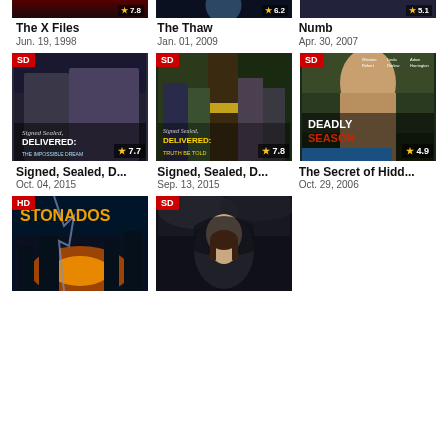[Figure (screenshot): Partial movie thumbnail row at top showing cropped posters for The X Files, The Thaw, Numb with ratings]
The X Files
Jun. 19, 1998
The Thaw
Jan. 01, 2009
Numb
Apr. 30, 2007
[Figure (screenshot): Movie thumbnail: Signed Sealed Delivered: The Impossible Dream, SD badge, rating 7.7]
[Figure (screenshot): Movie thumbnail: Signed Sealed Delivered: Truth Be Told, SD badge, rating 7.8]
[Figure (screenshot): Movie thumbnail: Deadly Season / The Secret of Hidden Lake, SD badge, rating 4.9]
Signed, Sealed, D...
Oct. 04, 2015
Signed, Sealed, D...
Sep. 13, 2015
The Secret of Hidd...
Oct. 29, 2006
[Figure (screenshot): Movie thumbnail: Stonados, HD badge]
[Figure (screenshot): Movie thumbnail: SD badge, hooded figure]